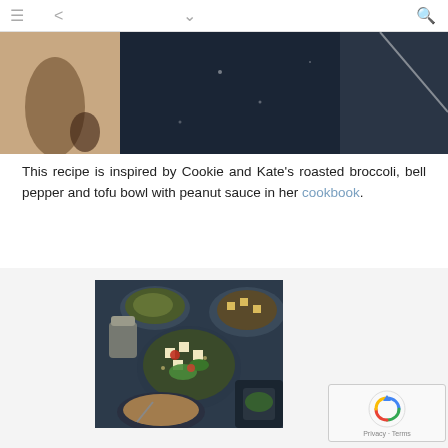≡  <  ∨  🔍
[Figure (photo): Partial view of food bowls on a dark background — top cropped image]
This recipe is inspired by Cookie and Kate's roasted broccoli, bell pepper and tofu bowl with peanut sauce in her cookbook.
[Figure (photo): Overhead photo of multiple food bowls with tofu, vegetables and sauces on a dark slate surface]
[Figure (other): reCAPTCHA widget with Privacy and Terms text]